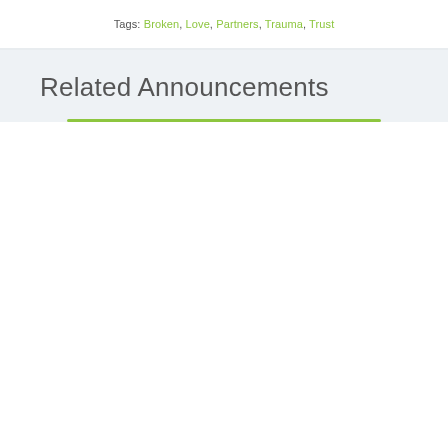Tags: Broken, Love, Partners, Trauma, Trust
Related Announcements
[Figure (photo): Two people facing each other closely with a rainbow stripe of light projected across both of their faces. The person on the left has short pink/magenta hair. The person on the right has short dark hair. The background is dark grey. The image has a green bottom border.]